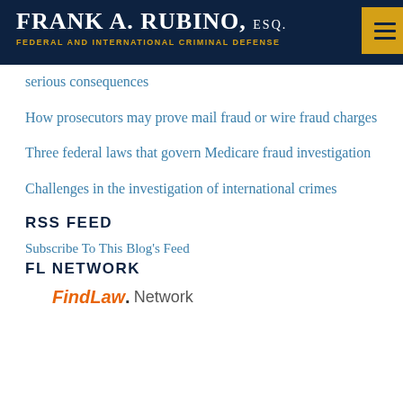FRANK A. RUBINO, ESQ. FEDERAL AND INTERNATIONAL CRIMINAL DEFENSE
serious consequences
How prosecutors may prove mail fraud or wire fraud charges
Three federal laws that govern Medicare fraud investigation
Challenges in the investigation of international crimes
RSS FEED
Subscribe To This Blog's Feed
FL NETWORK
[Figure (logo): FindLaw Network logo with orange italic 'FindLaw.' text followed by 'Network' in gray]